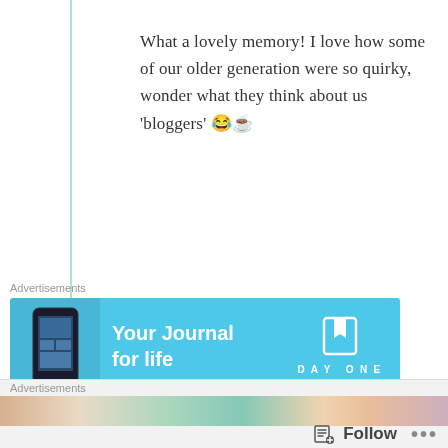What a lovely memory! I love how some of our older generation were so quirky, wonder what they think about us 'bloggers' 😂☕
★ Like
↳ Reply
Advertisements
[Figure (other): Day One app advertisement banner. Light blue background with phone mockup on the left, text 'Your Journal for life' in white bold, and Day One logo/bookmark icon on the right.]
REPORT THIS AD
Advertisements
[Figure (other): Colorful advertisement strip at bottom of page with travel/stationery themed imagery]
Follow
...